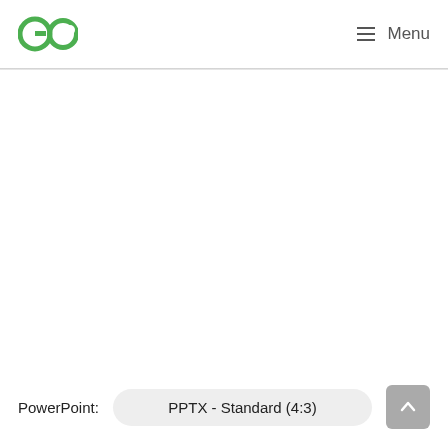GO  Menu
PowerPoint:  PPTX - Standard (4:3)